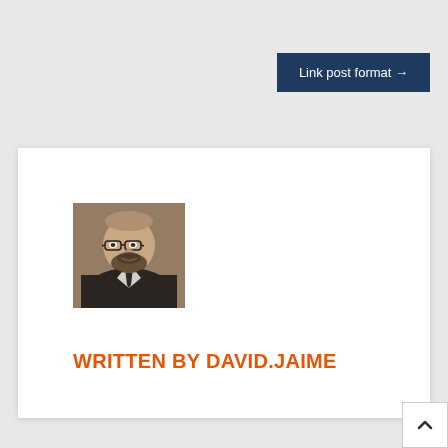Link post format →
[Figure (photo): Headshot of David Jaime, a man with glasses and a beard wearing a dark suit]
WRITTEN BY DAVID.JAIME